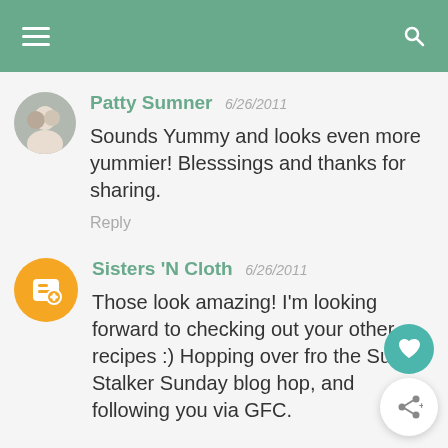Patty Sumner 6/26/2011
Sounds Yummy and looks even more yummier! Blesssings and thanks for sharing.
Reply
Sisters 'N Cloth 6/26/2011
Those look amazing! I'm looking forward to checking out your other recipes :) Hopping over fro the Super Stalker Sunday blog hop, and following you via GFC.